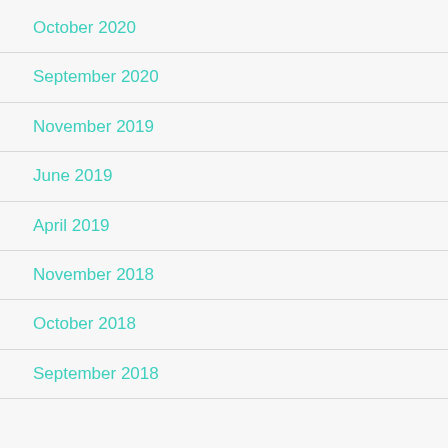October 2020
September 2020
November 2019
June 2019
April 2019
November 2018
October 2018
September 2018